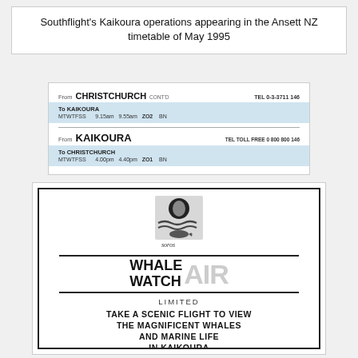Southflight's Kaikoura operations appearing in the Ansett NZ timetable of May 1995
[Figure (other): Scan of Ansett NZ timetable entry showing flights from Christchurch to Kaikoura (MTWTFSS 9.15am 9.55am ZO2 BN) and from Kaikoura to Christchurch (MTWTFSS 4.00pm 4.40pm ZO1 BN). Tel 0-3-3711 146 and TEL TOLL FREE 0 800 800 146.]
[Figure (photo): Scanned newspaper or brochure advertisement for Whale Watch Air Limited. Features a logo with a whale and waves, bold text reading 'WHALE WATCH AIR LIMITED', headline 'TAKE A SCENIC FLIGHT TO VIEW THE MAGNIFICENT WHALES AND MARINE LIFE IN KAIKOURA', and body text 'Get a bird's eye view of these spectacular mammals and enjoy the splendour of Kaikoura's coastal and alpine scenery.']